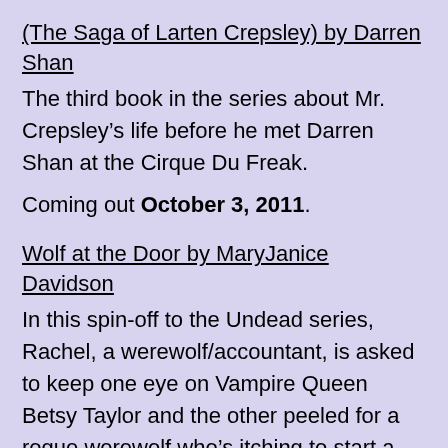(The Saga of Larten Crepsley) by Darren Shan
The third book in the series about Mr. Crepsley’s life before he met Darren Shan at the Cirque Du Freak.
Coming out October 3, 2011.
Wolf at the Door by MaryJanice Davidson
In this spin-off to the Undead series, Rachel, a werewolf/accountant, is asked to keep one eye on Vampire Queen Betsy Taylor and the other peeled for a rogue werewolf who’s itching to start a war. But her attention is mostly on a sexy, mysterious stranger she